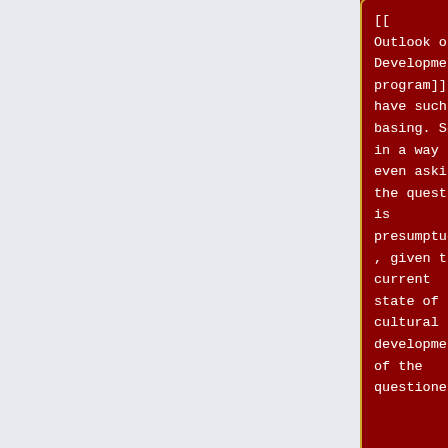[[...Outlook on Development|program]] to have such a basing. So in a way even asking the question is presumptuous, given the current state of cultural development of the questioner.
[[...ific Outlook on Development|program]] to have such a basing. So in a way even asking the question is presumptuous, given the current state of cultural development of the questioner.
I think the
I think the